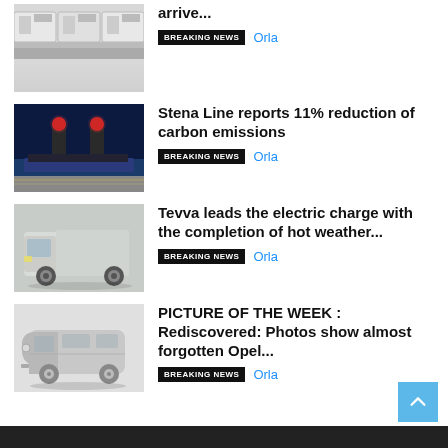[Figure (photo): White trucks/lorries parked in a row, top portion partially visible]
arrive...
BREAKING NEWS   Orla
[Figure (photo): Stena Line ferry at night with red funnels lit up, dockside view]
Stena Line reports 11% reduction of carbon emissions
BREAKING NEWS   Orla
[Figure (photo): Tevva electric truck van, silver/white, side view]
Tevva leads the electric charge with the completion of hot weather...
BREAKING NEWS   Orla
[Figure (photo): Vintage Opel van in black and white photograph]
PICTURE OF THE WEEK : Rediscovered: Photos show almost forgotten Opel...
BREAKING NEWS   Orla